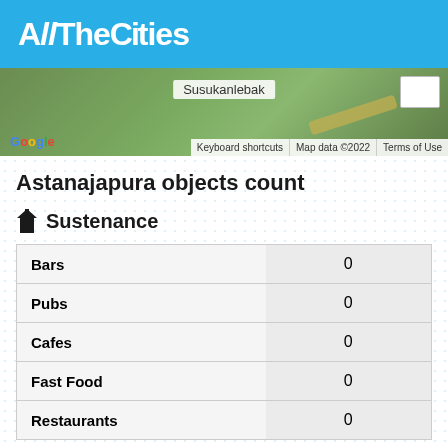AllTheCities
[Figure (map): Google Maps satellite/hybrid view showing Susukanlebak area with green terrain, road, and map attribution]
Astanajapura objects count
Sustenance
| Category | Count |
| --- | --- |
| Bars | 0 |
| Pubs | 0 |
| Cafes | 0 |
| Fast Food | 0 |
| Restaurants | 0 |
Education